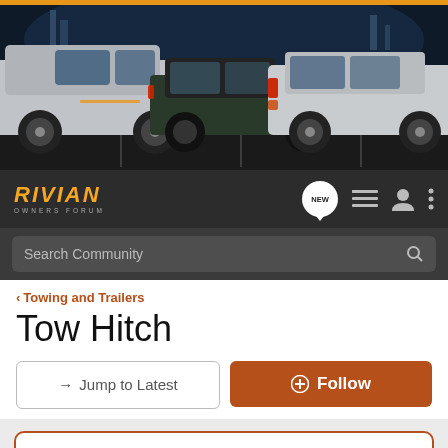[Figure (photo): Banner image showing Rivian electric pickup trucks parked in a dark urban setting at night]
[Figure (logo): Rivian Owners Forum logo in orange italic font on dark background with navigation icons]
Search Community
< Towing and Trailers
Tow Hitch
→ Jump to Latest
+ Follow
Rivian Order Tracker: Add Yours Here!